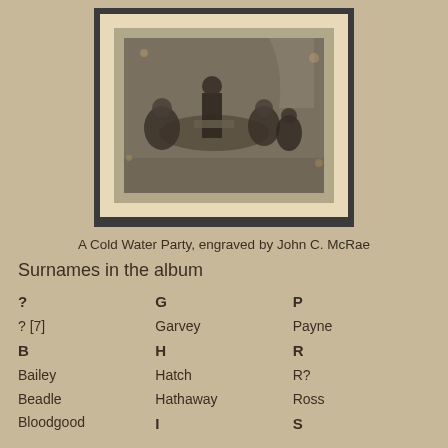[Figure (photo): An old engraving titled 'A Cold Water Party, engraved by John C. McRae', showing a group of people gathered around a table in an interior scene, framed with a dark outer frame and aged paper mat.]
A Cold Water Party, engraved by John C. McRae
Surnames in the album
?
G
P
? [7]
Garvey
Payne
B
H
R
Bailey
Hatch
R?
Beadle
Hathaway
Ross
Bloodgood
I
S